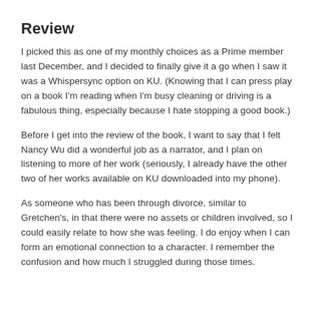Review
I picked this as one of my monthly choices as a Prime member last December, and I decided to finally give it a go when I saw it was a Whispersync option on KU.  (Knowing that I can press play on a book I'm reading when I'm busy cleaning or driving is a fabulous thing, especially because I hate stopping a good book.)
Before I get into the review of the book, I want to say that I felt Nancy Wu did a wonderful job as a narrator, and I plan on listening to more of her work (seriously, I already have the other two of her works available on KU downloaded into my phone).
As someone who has been through divorce, similar to Gretchen's, in that there were no assets or children involved, so I could easily relate to how she was feeling.  I do enjoy when I can form an emotional connection to a character.  I remember the confusion and how much I struggled during those times.